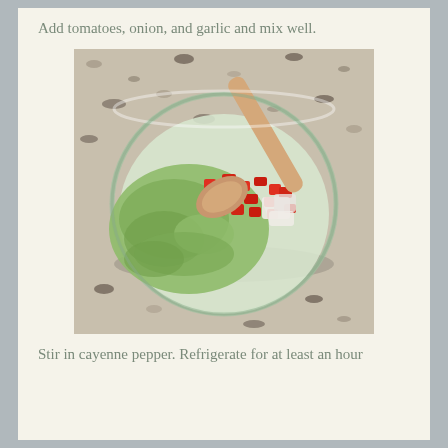Add tomatoes, onion, and garlic and mix well.
[Figure (photo): A glass bowl containing mashed avocado guacamole with diced red tomatoes and onion on top, with a wooden spoon resting in the bowl, placed on a granite countertop.]
Stir in cayenne pepper. Refrigerate for at least an hour